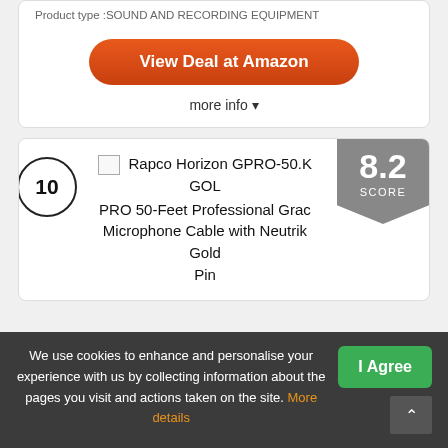Product type :SOUND AND RECORDING EQUIPMENT
View Deal at Amazon
more info ▾
10
Rapco Horizon GPRO-50.K GOLD PRO 50-Feet Professional Grade Microphone Cable with Neutrik Gold Pin
8.2 SCORE
We use cookies to enhance and personalise your experience with us by collecting information about the pages you visit and actions taken on the site. More details
I Agree